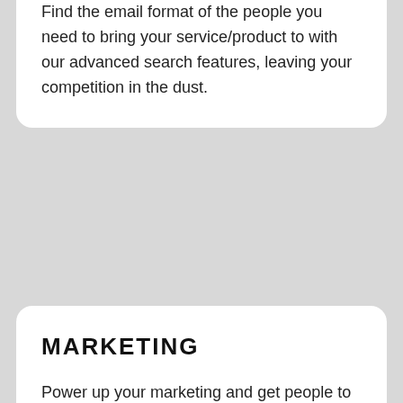Find the email format of the people you need to bring your service/product to with our advanced search features, leaving your competition in the dust.
MARKETING
Power up your marketing and get people to pay attention to your business, pursuit, or clients. Find prospects, develop your lists, and track your marketing campaigns without even having to leave the RocketReach suite. Find the most crucial people you need to bring your product to with our advanced search features and then immediately take action, leaving your